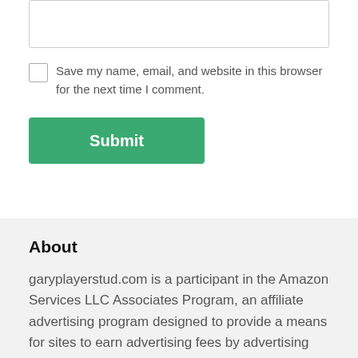[Figure (screenshot): A textarea input box with a light grey border at the top of the page]
Save my name, email, and website in this browser for the next time I comment.
Submit
About
garyplayerstud.com is a participant in the Amazon Services LLC Associates Program, an affiliate advertising program designed to provide a means for sites to earn advertising fees by advertising and linking